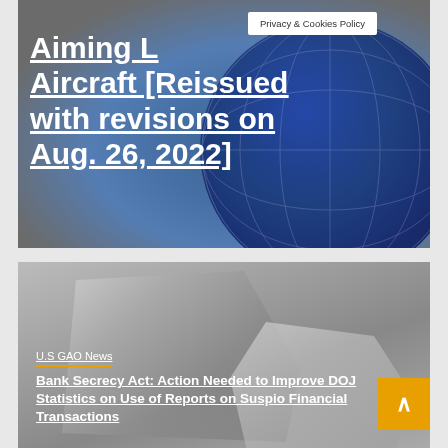[Figure (photo): Dark background with globe graphic showing world map in blue tones]
Privacy & Cookies Policy
Aircraft [Reissued with revisions on Aug. 26, 2022]
[Figure (photo): Grayscale photo of hands using a laptop computer]
U.S GAO News
Bank Secrecy Act: Action Needed to Improve DOJ Statistics on Use of Reports on Suspicious Financial Transactions